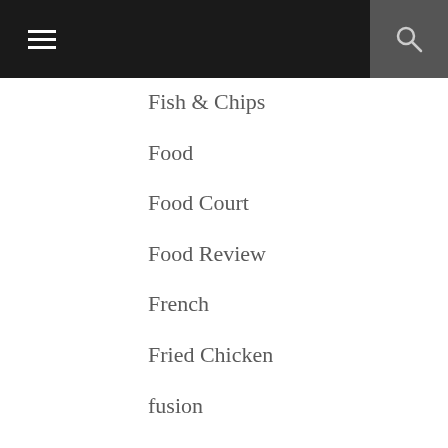Navigation menu with hamburger icon and search icon
Fish & Chips
Food
Food Court
Food Review
French
Fried Chicken
fusion
Gelato
German
hot